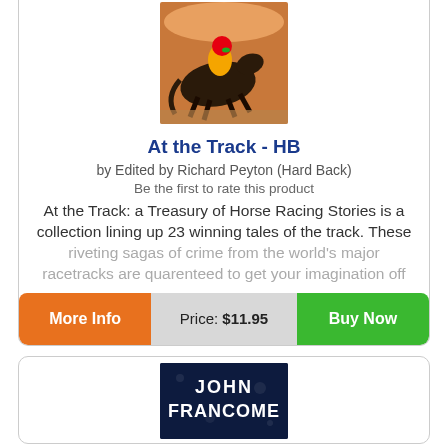[Figure (illustration): Book cover image of 'At the Track', showing a horse racing scene with jockey in yellow and black colors]
At the Track - HB
by Edited by Richard Peyton (Hard Back)
Be the first to rate this product
At the Track: a Treasury of Horse Racing Stories is a collection lining up 23 winning tales of the track. These riveting sagas of crime from the world's major racetracks are quarenteed to get your imagination off
More Info | Price: $11.95 | Buy Now
[Figure (photo): Book cover for John Francome, dark blue background with white bold text]